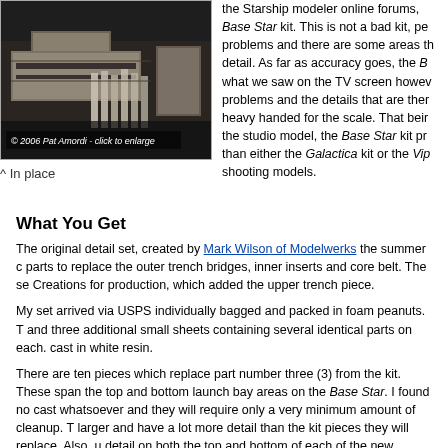[Figure (photo): Close-up photo of a spacecraft model (Base Star) showing model parts including trench bridges and structural details. Copyright 2006 Pat Amordi - click to enlarge.]
^ In place
the Starship modeler online forums, Base Star kit. This is not a bad kit, pe problems and there are some areas th detail. As far as accuracy goes, the B what we saw on the TV screen howev problems and the details that are ther heavy handed for the scale. That beir the studio model, the Base Star kit pr than either the Galactica kit or the Vip shooting models.
What You Get
The original detail set, created by Mark Wilson of Modelwerks the summer c parts to replace the outer trench bridges, inner inserts and core belt. The se Creations for production, which added the upper trench piece.
My set arrived via USPS individually bagged and packed in foam peanuts. T and three additional small sheets containing several identical parts on each. cast in white resin.
There are ten pieces which replace part number three (3) from the kit. These span the top and bottom launch bay areas on the Base Star. I found no cast whatsoever and they will require only a very minimum amount of cleanup. T larger and have a lot more detail than the kit pieces they will replace. Also, u detail on both the top and bottom of each of the new bridges. Next, is a sma intended to replace part number six (6) from the kit. Again, this sheet is crisp casting flaws.
The rest of the parts are found on two small sheets along with 5 individual a will be assembled to make up the missing detail around the center joint of th